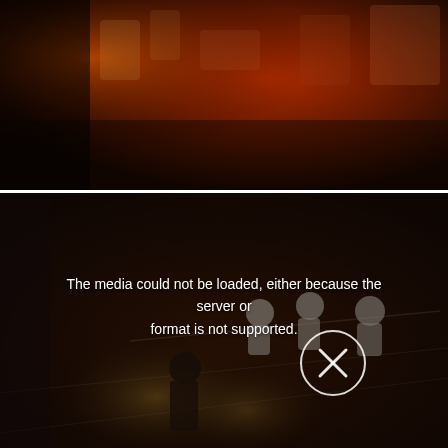[Figure (photo): Dark concert/stage scene viewed from above. Stage with red and orange lighting visible, equipment and crowd in upper portion.]
The media could not be loaded, either because the server or format is not supported.
[Figure (photo): Dark concert stage photo from elevated angle showing musicians in white clothing seated on stage with instruments, with a circular X close button overlay in lower right area.]